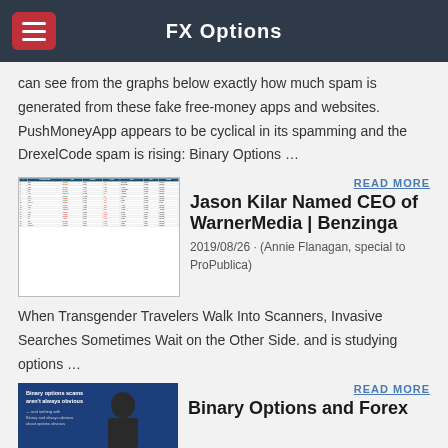FX Options
can see from the graphs below exactly how much spam is generated from these fake free-money apps and websites. PushMoneyApp appears to be cyclical in its spamming and the DrexelCode spam is rising: Binary Options …
[Figure (table-as-image): Screenshot of a financial data table with stock/options data including columns for symbols, prices, changes, and volume. Rows contain green and red colored numbers.]
READ MORE
Jason Kilar Named CEO of WarnerMedia | Benzinga
2019/08/26 · (Annie Flanagan, special to ProPublica) When Transgender Travelers Walk Into Scanners, Invasive Searches Sometimes Wait on the Other Side. and is studying options …
[Figure (photo): Blue-toned image showing a person in a suit with text overlay reading 'Binary options scams aren't always obvious' with additional text below.]
READ MORE
Binary Options and Forex